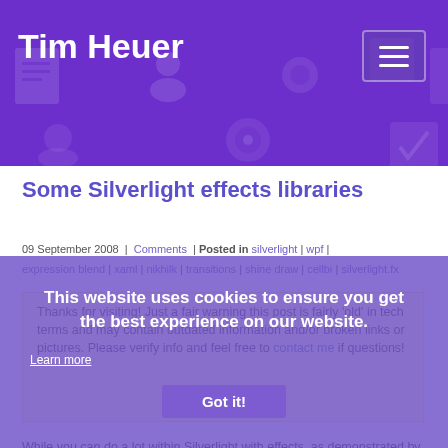Tim Heuer
Some Silverlight effects libraries
09 September 2008 | Comments | Posted in silverlight | wpf | expression blend | xaml | nikhilk | transitions | shine draw | cellbi | silverlight.fx
Thanks for visiting! Just a fair warning this post is fairly 'old' in tech terms and may contain outdated information and/or broken links or pictures. Please verify info and feel free to contact me if questions!
While you can do a lot within Silverlight with effects, as demonstrated by techniques used like seen in Shine Draw, you may also want some helping hands to implement these. It's not always fun to write some code for when you just want to be able to drop in an effect on your application. You want to concentrate on your application logic and get
This website uses cookies to ensure you get the best experience on our website.
Learn more
Got it!